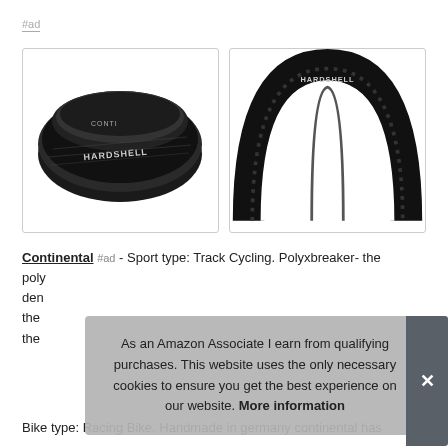#ad
[Figure (photo): Two product images of Continental tires: left shows a folded/rolled black tire with 'HARDSHELL' branding; right shows an upright black tire arch/profile view]
Continental #ad - Sport type: Track Cycling. Polyxbreaker- the poly den the the
As an Amazon Associate I earn from qualifying purchases. This website uses the only necessary cookies to ensure you get the best experience on our website. More information
Bike type: Racing Bike. Handmade in germany continental has